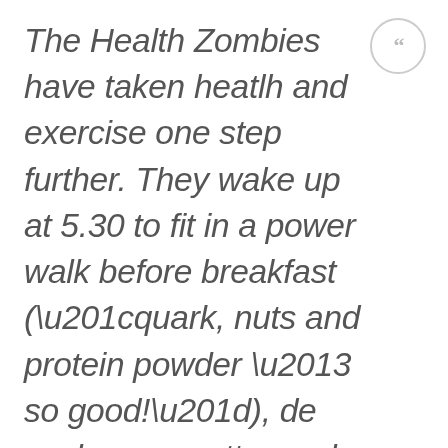The Health Zombies have taken heatlh and exercise one step further. They wake up at 5.30 to fit in a power walk before breakfast (“quark, nuts and protein powder – so good!”), de exchange pretty much all carbs (“unningecessary”) for